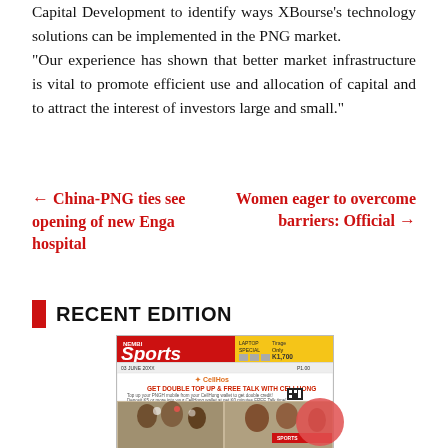Capital Development to identify ways XBourse's technology solutions can be implemented in the PNG market. "Our experience has shown that better market infrastructure is vital to promote efficient use and allocation of capital and to attract the interest of investors large and small."
← China-PNG ties see opening of new Enga hospital
Women eager to overcome barriers: Official →
RECENT EDITION
[Figure (photo): Thumbnail of a recent newspaper edition showing Sports section with advertisements and photos]